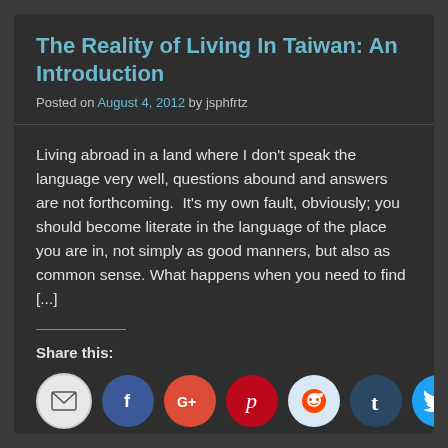The Reality of Living In Taiwan: An Introduction
Posted on August 4, 2012 by jsphfrtz
Living abroad in a land where I don't speak the language very well, questions abound and answers are not forthcoming.  It's my own fault, obviously; you should become literate in the language of the place you are in, not simply as good manners, but also as common sense. What happens when you need to find [...]
Share this:
[Figure (infographic): Row of social sharing icons: email, Facebook, Google+, Pinterest, Reddit, Tumblr, Twitter]
1 Comment